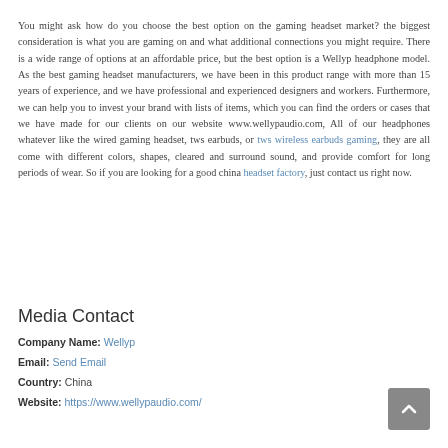You might ask how do you choose the best option on the gaming headset market? the biggest consideration is what you are gaming on and what additional connections you might require. There is a wide range of options at an affordable price, but the best option is a Wellyp headphone model. As the best gaming headset manufacturers, we have been in this product range with more than 15 years of experience, and we have professional and experienced designers and workers. Furthermore, we can help you to invest your brand with lists of items, which you can find the orders or cases that we have made for our clients on our website www.wellypaudio.com, All of our headphones whatever like the wired gaming headset, tws earbuds, or tws wireless earbuds gaming, they are all come with different colors, shapes, cleared and surround sound, and provide comfort for long periods of wear. So if you are looking for a good china headset factory, just contact us right now.
Media Contact
Company Name: Wellyp
Email: Send Email
Country: China
Website: https://www.wellypaudio.com/